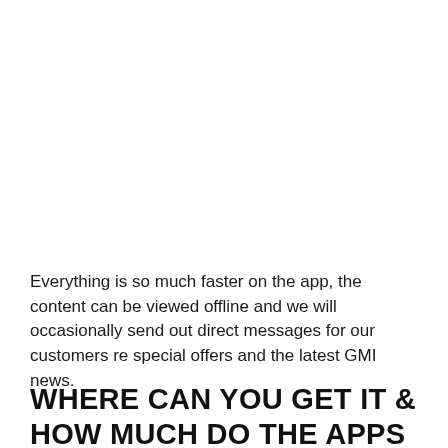Everything is so much faster on the app, the content can be viewed offline and we will occasionally send out direct messages for our customers re special offers and the latest GMI news.
WHERE CAN YOU GET IT & HOW MUCH DO THE APPS COST?